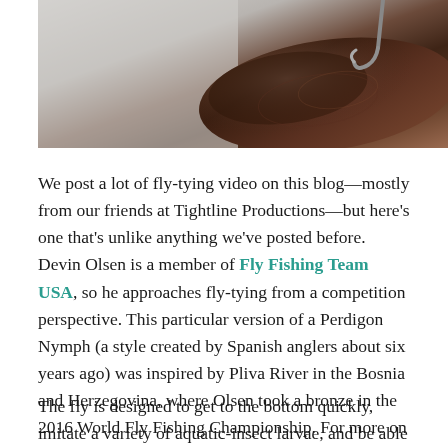[Figure (photo): Close-up photograph of a fly fishing hook and fly tying material, showing a dark reddish-brown textured body of a fishing fly with a hook visible at the top, against a light gray background.]
We post a lot of fly-tying video on this blog—mostly from our friends at Tightline Productions—but here's one that's unlike anything we've posted before. Devin Olsen is a member of Fly Fishing Team USA, so he approaches fly-tying from a competition perspective. This particular version of a Perdigon Nymph (a style created by Spanish anglers about six years ago) was inspired by Pliva River in the Bosnia and Herzegovina, where Olsen took a bronze in the 2016 World Fly Fishing Championship. For more on this pattern from Olsen himself, click here.
The fly is designed to get to the bottom quickly, imitate a variety of aquatic-insect larvae, and be able to withstand some punishment from rocks and fish. Some of these